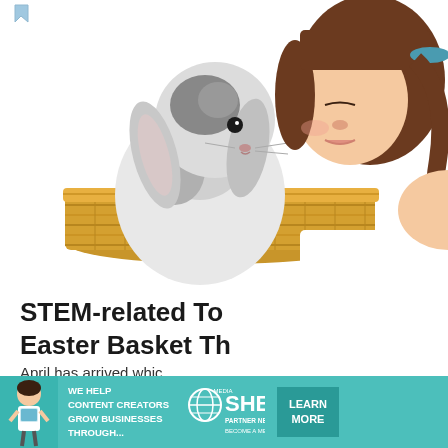[Figure (photo): A young girl with brown hair in a ponytail nuzzling noses with a white and gray lop-eared rabbit sitting in a wicker basket, white background]
STEM-related Toys for Easter Basket This…
April has arrived whic… food … [Read More…]
[Figure (infographic): SHE Media Partner Network advertisement banner: 'WE HELP CONTENT CREATORS GROW BUSINESSES THROUGH...' with SHE logo and 'LEARN MORE' button]